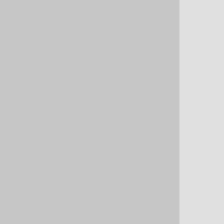hool Summer School@UA]; please contact [mailto:caroline.lawson@ualberta.ca Caroline Lawson]. Last year these amounted to $2250 each.
===""[[Ghana 2013 syllabi | 2013 program syllabi, archived]]""===
===""[[Ghana 2010 syllabi | 2010 program